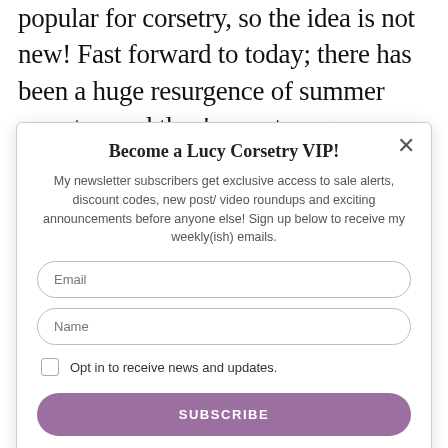popular for corsetry, so the idea is not new! Fast forward to today; there has been a huge resurgence of summer corsetry, and they're as strong as ever with the creation of new fibers and
Become a Lucy Corsetry VIP!
My newsletter subscribers get exclusive access to sale alerts, discount codes, new post/ video roundups and exciting announcements before anyone else! Sign up below to receive my weekly(ish) emails.
Email
Name
Opt in to receive news and updates.
SUBSCRIBE